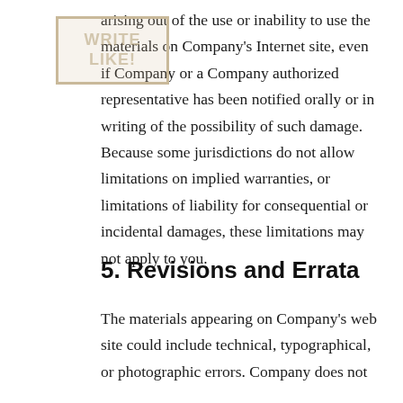arising out of the use or inability to use the materials on Company's Internet site, even if Company or a Company authorized representative has been notified orally or in writing of the possibility of such damage. Because some jurisdictions do not allow limitations on implied warranties, or limitations of liability for consequential or incidental damages, these limitations may not apply to you.
5. Revisions and Errata
The materials appearing on Company's web site could include technical, typographical, or photographic errors. Company does not